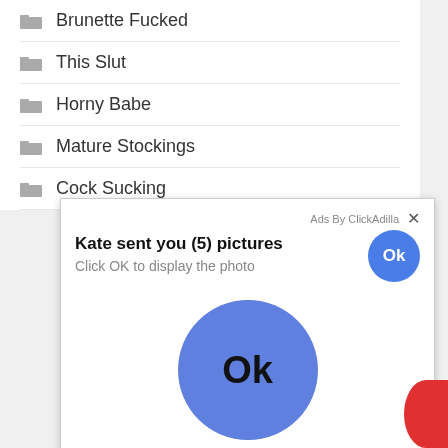Brunette Fucked
This Slut
Horny Babe
Mature Stockings
Cock Sucking
[Figure (screenshot): Ad overlay from ClickAdilla: 'Kate sent you (5) pictures / Click OK to display the photo' with a small blue Ok button at top right and a large blue circle Ok button in the center. A red partial circle is visible at far right.]